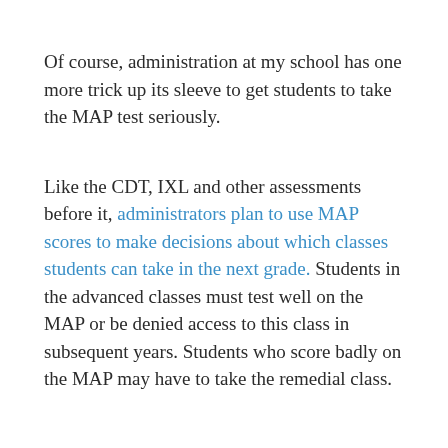Of course, administration at my school has one more trick up its sleeve to get students to take the MAP test seriously.
Like the CDT, IXL and other assessments before it, administrators plan to use MAP scores to make decisions about which classes students can take in the next grade. Students in the advanced classes must test well on the MAP or be denied access to this class in subsequent years. Students who score badly on the MAP may have to take the remedial class.